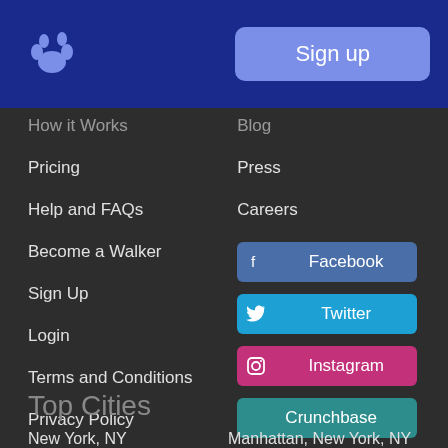Sign up
How it Works
Blog
Pricing
Press
Help and FAQs
Careers
Become a Walker
Facebook
Sign Up
Twitter
Login
Instagram
Terms and Conditions
Crunchbase
Privacy Policy
YouTube
Top Cities
New York, NY
Manhattan, New York, NY